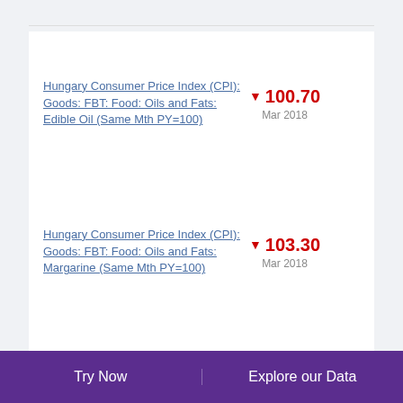Hungary Consumer Price Index (CPI): Goods: FBT: Food: Oils and Fats: Edible Oil (Same Mth PY=100)
Hungary Consumer Price Index (CPI): Goods: FBT: Food: Oils and Fats: Margarine (Same Mth PY=100)
Hungary Consumer Price Index (CPI): Goods: FBT: Food: Oils and Fats
Try Now | Explore our Data